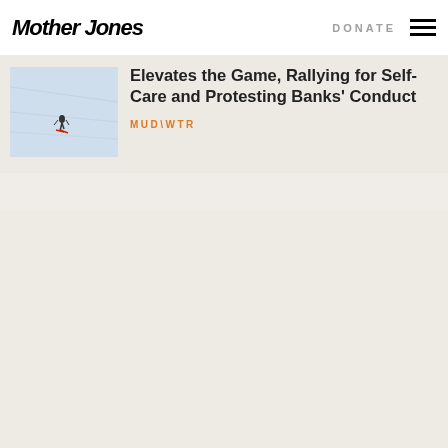Mother Jones | DONATE
[Figure (photo): A skier on a snowy slope viewed from above]
Elevates the Game, Rallying for Self-Care and Protesting Banks' Conduct
MUD\WTR